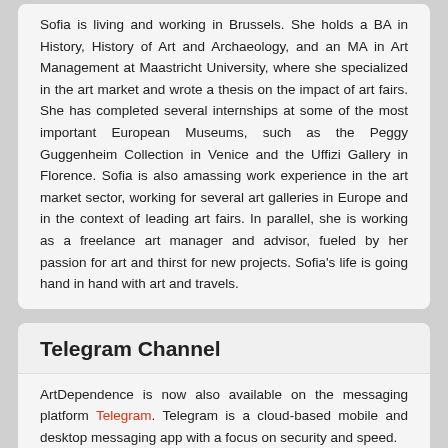Sofia is living and working in Brussels. She holds a BA in History, History of Art and Archaeology, and an MA in Art Management at Maastricht University, where she specialized in the art market and wrote a thesis on the impact of art fairs. She has completed several internships at some of the most important European Museums, such as the Peggy Guggenheim Collection in Venice and the Uffizi Gallery in Florence. Sofia is also amassing work experience in the art market sector, working for several art galleries in Europe and in the context of leading art fairs. In parallel, she is working as a freelance art manager and advisor, fueled by her passion for art and thirst for new projects. Sofia's life is going hand in hand with art and travels.
Telegram Channel
ArtDependence is now also available on the messaging platform Telegram. Telegram is a cloud-based mobile and desktop messaging app with a focus on security and speed.
Subscribing to the ArtDependence Channel allows you to